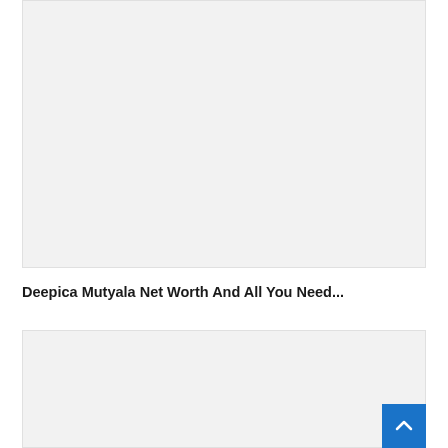[Figure (photo): Rectangular image placeholder with light gray background, top section]
Deepica Mutyala Net Worth And All You Need...
[Figure (photo): Rectangular image placeholder with light gray background, bottom section]